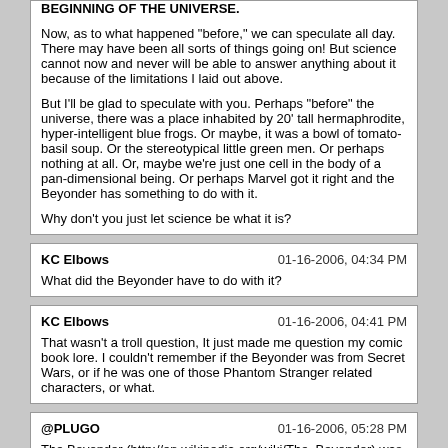BEGINNING OF THE UNIVERSE.

Now, as to what happened "before," we can speculate all day. There may have been all sorts of things going on! But science cannot now and never will be able to answer anything about it because of the limitations I laid out above.

But I'll be glad to speculate with you. Perhaps "before" the universe, there was a place inhabited by 20' tall hermaphrodite, hyper-intelligent blue frogs. Or maybe, it was a bowl of tomato-basil soup. Or the stereotypical little green men. Or perhaps nothing at all. Or, maybe we're just one cell in the body of a pan-dimensional being. Or perhaps Marvel got it right and the Beyonder has something to do with it.

Why don't you just let science be what it is?
KC Elbows | 01-16-2006, 04:34 PM
What did the Beyonder have to do with it?
KC Elbows | 01-16-2006, 04:41 PM
That wasn't a troll question, It just made me question my comic book lore. I couldn't remember if the Beyonder was from Secret Wars, or if he was one of those Phantom Stranger related characters, or what.
@PLUGO | 01-16-2006, 05:28 PM
The Beyonder (http://en.wikipedia.org/wiki/The_Beyonder) was from SECRET Wars...

however it was later discovered that he was actually a baby Cosmic Cube.... I think.